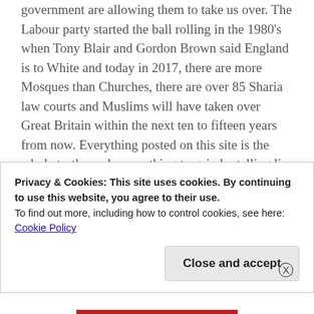government are allowing them to take us over. The Labour party started the ball rolling in the 1980's when Tony Blair and Gordon Brown said England is to White and today in 2017, there are more Mosques than Churches, there are over 85 Sharia law courts and Muslims will have taken over Great Britain within the next ten to fifteen years from now. Everything posted on this site is the whole truth, we have nothing to gain by telling lies to anyone, that's the governments and the medias job. This site will bring news from all over the world,we will show you that Islam is the most evil none religion on earth. So check out the blog for yourselves and you will begin to see it is not the powers that be that are
Privacy & Cookies: This site uses cookies. By continuing to use this website, you agree to their use.
To find out more, including how to control cookies, see here:
Cookie Policy
Close and accept